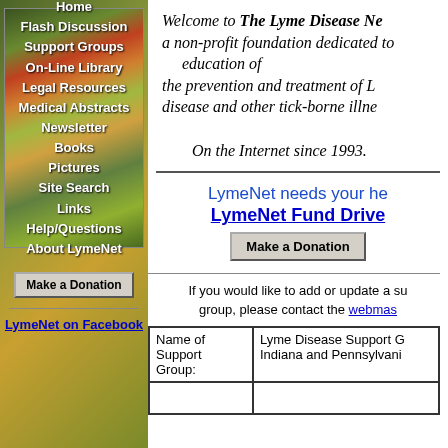[Figure (illustration): Navigation menu with nature background (foliage: red, yellow, green) listing: Home, Flash Discussion, Support Groups, On-Line Library, Legal Resources, Medical Abstracts, Newsletter, Books, Pictures, Site Search, Links, Help/Questions, About LymeNet]
Make a Donation
LymeNet on Facebook
Welcome to The Lyme Disease Ne... a non-profit foundation dedicated to... education of the prevention and treatment of L... disease and other tick-borne illne... On the Internet since 1993.
LymeNet needs your he... LymeNet Fund Drive
Make a Donation
If you would like to add or update a su... group, please contact the webmas...
| Name of Support Group: |  |
| --- | --- |
| Name of
Support
Group: | Lyme Disease Support G...
Indiana and Pennsylvani... |